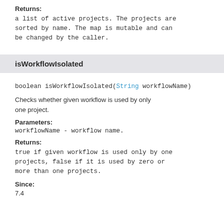Returns:
a list of active projects. The projects are sorted by name. The map is mutable and can be changed by the caller.
isWorkflowIsolated
boolean isWorkflowIsolated(String workflowName)
Checks whether given workflow is used by only one project.
Parameters:
workflowName - workflow name.
Returns:
true if given workflow is used only by one projects, false if it is used by zero or more than one projects.
Since:
7.4